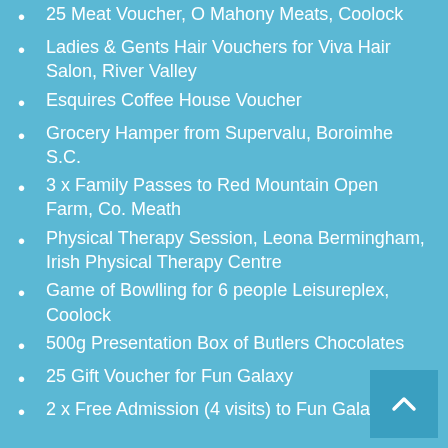25 Meat Voucher, O Mahony Meats, Coolock
Ladies & Gents Hair Vouchers for Viva Hair Salon, River Valley
Esquires Coffee House Voucher
Grocery Hamper from Supervalu, Boroimhe S.C.
3 x Family Passes to Red Mountain Open Farm, Co. Meath
Physical Therapy Session, Leona Bermingham, Irish Physical Therapy Centre
Game of Bowlling for 6 people Leisureplex, Coolock
500g Presentation Box of Butlers Chocolates
25 Gift Voucher for Fun Galaxy
2 x Free Admission (4 visits) to Fun Galaxy